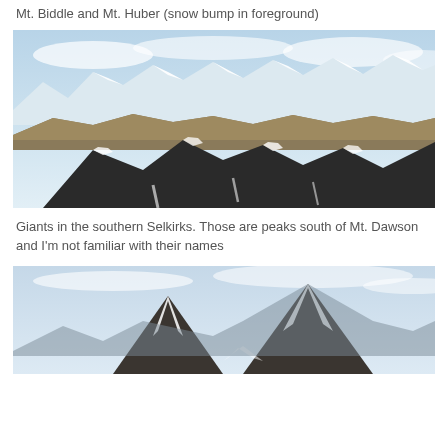Mt. Biddle and Mt. Huber (snow bump in foreground)
[Figure (photo): Aerial or high-elevation panoramic view of snow-covered mountain peaks in the southern Selkirks range, with rocky dark foreground peaks and snowy distant peaks under a partly cloudy blue sky.]
Giants in the southern Selkirks. Those are peaks south of Mt. Dawson and I'm not familiar with their names
[Figure (photo): High-elevation view of snow-covered mountain peaks with a cloudy sky in the background, showing two prominent rocky summits.]